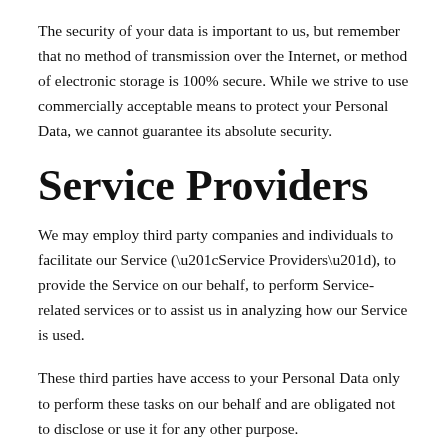The security of your data is important to us, but remember that no method of transmission over the Internet, or method of electronic storage is 100% secure. While we strive to use commercially acceptable means to protect your Personal Data, we cannot guarantee its absolute security.
Service Providers
We may employ third party companies and individuals to facilitate our Service (“Service Providers”), to provide the Service on our behalf, to perform Service-related services or to assist us in analyzing how our Service is used.
These third parties have access to your Personal Data only to perform these tasks on our behalf and are obligated not to disclose or use it for any other purpose.
Analytics